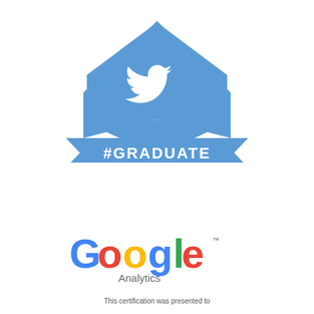[Figure (logo): Twitter Flight School #Graduate logo: a blue pentagon/arrow shape with a white Twitter bird inside, above a blue banner reading #GRADUATE and below that text TWITTER FLIGHT SCHOOL in blue]
[Figure (logo): Google Analytics logo: colorful Google wordmark in blue, red, yellow, green with 'Analytics' text below in gray, followed by trademark symbol]
This certification was presented to